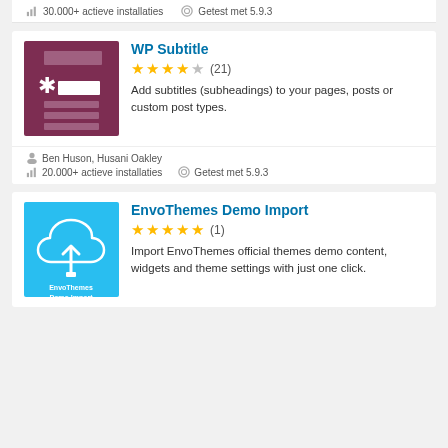30.000+ actieve installaties   Getest met 5.9.3
WP Subtitle
★★★★☆ (21)
Add subtitles (subheadings) to your pages, posts or custom post types.
Ben Huson, Husani Oakley
20.000+ actieve installaties   Getest met 5.9.3
EnvoThemes Demo Import
★★★★★ (1)
Import EnvoThemes official themes demo content, widgets and theme settings with just one click.